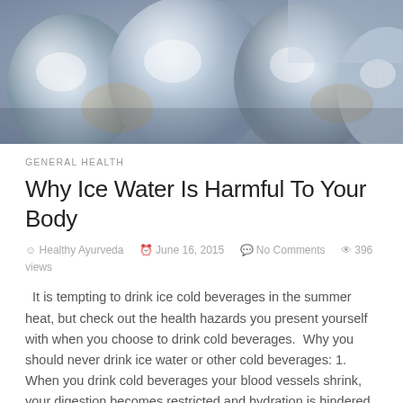[Figure (photo): Close-up photograph of shiny, reflective ice cubes with metallic silver and blue tones]
GENERAL HEALTH
Why Ice Water Is Harmful To Your Body
Healthy Ayurveda   June 16, 2015   No Comments   396 views
It is tempting to drink ice cold beverages in the summer heat, but check out the health hazards you present yourself with when you choose to drink cold beverages.  Why you should never drink ice water or other cold beverages: 1. When you drink cold beverages your blood vessels shrink, your digestion becomes restricted and hydration is hindered. 2. Instead of working to digest the food and absorb the nutrients to create energy, your body is expending energy to regulate your temperature. This can lead to water loss. 3. Drinking cold water after a meal creates excess mucus in your body, which can lead to a decrease in immune system function, making it easier to catch colds and illnesses. 4. If you eat food while drinking cold beverages or immediately afte...